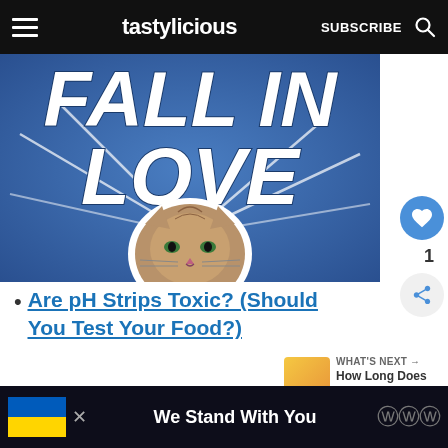tastylicious  SUBSCRIBE
[Figure (illustration): Promotional image with blue background showing text 'FALL IN LOVE' in large bold italic white letters with a tabby cat face in center with sticker-style white border, radial lines emanating from center]
Are pH Strips Toxic? (Should You Test Your Food?)
WHAT'S NEXT → How Long Does Fresh...
For example, if you're using your pH
We Stand With You